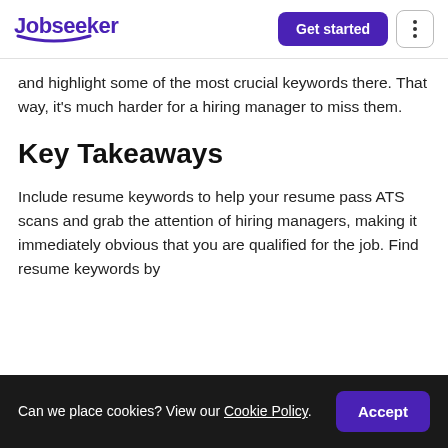Jobseeker | Get started
and highlight some of the most crucial keywords there. That way, it's much harder for a hiring manager to miss them.
Key Takeaways
Include resume keywords to help your resume pass ATS scans and grab the attention of hiring managers, making it immediately obvious that you are qualified for the job. Find resume keywords by
Can we place cookies? View our Cookie Policy.